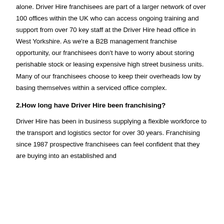alone. Driver Hire franchisees are part of a larger network of over 100 offices within the UK who can access ongoing training and support from over 70 key staff at the Driver Hire head office in West Yorkshire. As we're a B2B management franchise opportunity, our franchisees don't have to worry about storing perishable stock or leasing expensive high street business units. Many of our franchisees choose to keep their overheads low by basing themselves within a serviced office complex.
2.How long have Driver Hire been franchising?
Driver Hire has been in business supplying a flexible workforce to the transport and logistics sector for over 30 years. Franchising since 1987 prospective franchisees can feel confident that they are buying into an established and